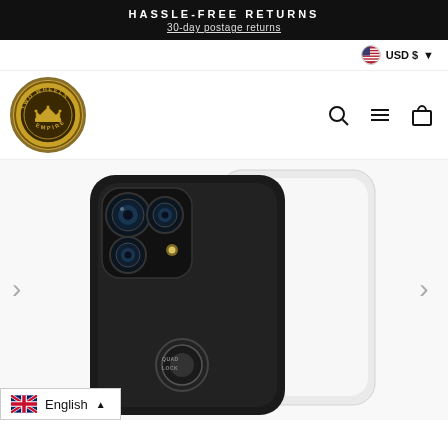HASSLE-FREE RETURNS
30-day postage returns
USD $ ▾
[Figure (logo): Two Wheels Empire circular badge logo with crown in center]
[Figure (illustration): Icons: search magnifier, hamburger menu, shopping bag]
[Figure (photo): Product photo: black iPhone 12 Pro phone case with Quad Lock mount visible, alongside a transparent/clear case leaning behind it]
English ▲